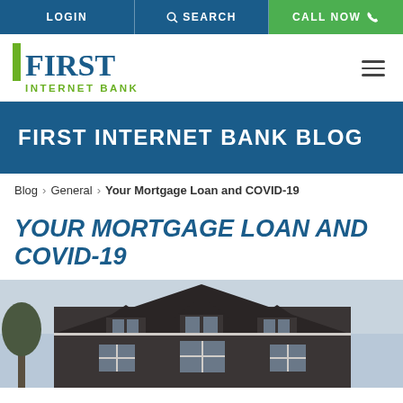LOGIN | SEARCH | CALL NOW
[Figure (logo): First Internet Bank logo with green vertical bar and blue 'First' text, green 'INTERNET BANK' subtitle]
FIRST INTERNET BANK BLOG
Blog > General > Your Mortgage Loan and COVID-19
YOUR MORTGAGE LOAN AND COVID-19
[Figure (photo): Exterior photo of a dark brick house with white trim, multiple dormer windows, and a large peaked roof, photographed from below against a cloudy sky]